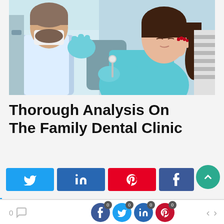[Figure (photo): A dentist wearing blue gloves and a mask examining a female patient who is seated in a dental chair wearing a teal bib and touching her cheek in discomfort, holding a dental mirror.]
Thorough Analysis On The Family Dental Clinic
[Figure (infographic): Social share buttons: Twitter (blue), LinkedIn (dark blue), Pinterest (red), Facebook (partial, dark blue), and a teal scroll-to-top circular button with an upward arrow.]
[Figure (infographic): Bottom share/navigation bar with comment count (0), share icons for Facebook, Twitter, LinkedIn, Pinterest each with badge count 0, and left/right navigation arrows.]